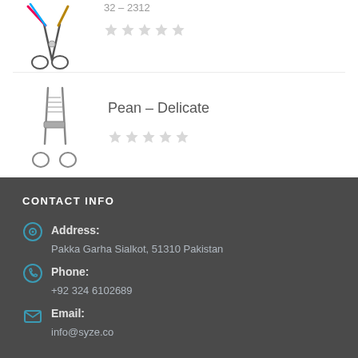32 – 2312
[Figure (photo): Surgical scissors with colorful handles (rainbow/gold tips)]
[Figure (photo): Pean delicate surgical clamp/forceps instrument]
Pean – Delicate
CONTACT INFO
Address: Pakka Garha Sialkot, 51310 Pakistan
Phone: +92 324 6102689
Email: info@syze.co